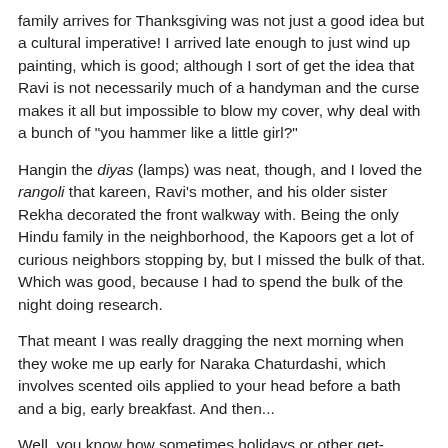family arrives for Thanksgiving was not just a good idea but a cultural imperative! I arrived late enough to just wind up painting, which is good; although I sort of get the idea that Ravi is not necessarily much of a handyman and the curse makes it all but impossible to blow my cover, why deal with a bunch of "you hammer like a little girl?"
Hangin the diyas (lamps) was neat, though, and I loved the rangoli that kareen, Ravi's mother, and his older sister Rekha decorated the front walkway with. Being the only Hindu family in the neighborhood, the Kapoors get a lot of curious neighbors stopping by, but I missed the bulk of that. Which was good, because I had to spend the bulk of the night doing research.
That meant I was really dragging the next morning when they woke me up early for Naraka Chaturdashi, which involves scented oils applied to your head before a bath and a big, early breakfast. And then...
Well, you know how sometimes holidays or other get-togethers become this thing where you have more time than traditionally fill them? It was like that, as we chatted, had...